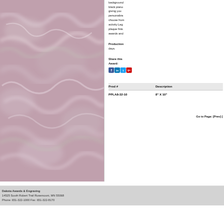[Figure (photo): Marble texture background, pinkish-purple with white veining, occupying the left portion of the page]
background black piano giving you personaliza choose from activity Leg plaque finis awards and
Production days.
Share this Award:
[Figure (other): Social media icons: Facebook, LinkedIn, Twitter, and one more]
| Prod # | Description |
| --- | --- |
| PPLA8-32-10 | 8" X 10" |
Go to Page: [Prev] [
Dakota Awards & Engraving
14525 South Robert Trail Rosemount, MN 55068
Phone: 651-322-1000 Fax: 651-322-8170